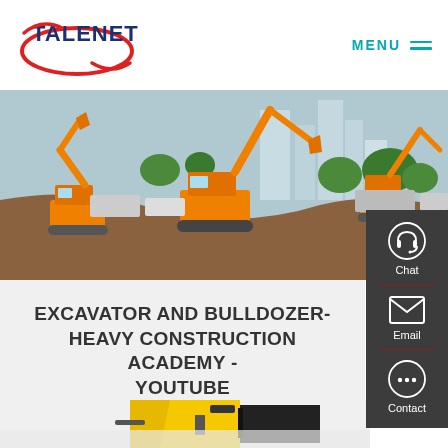TALENET | MENU
[Figure (photo): Construction site with multiple orange excavators/bulldozers digging earth, city skyline in background]
EXCAVATOR AND BULLDOZER- HEAVY CONSTRUCTION ACADEMY - YOUTUBE
[Figure (photo): Yellow and black construction equipment attachment, partial view at bottom of page]